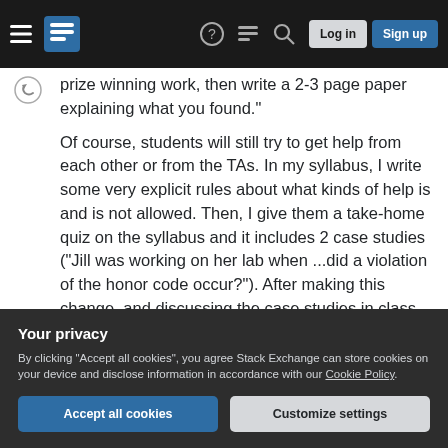Stack Exchange navigation bar with hamburger menu, logo, help icon, chat icon, search icon, Log in and Sign up buttons
prize winning work, then write a 2-3 page paper explaining what you found."
Of course, students will still try to get help from each other or from the TAs. In my syllabus, I write some very explicit rules about what kinds of help is and is not allowed. Then, I give them a take-home quiz on the syllabus and it includes 2 case studies ("Jill was working on her lab when ...did a violation of the honor code occur?"). After making this change, and discussing the case studies in class after students hand in the quiz, cheating went down. By the way, I
Your privacy
By clicking "Accept all cookies", you agree Stack Exchange can store cookies on your device and disclose information in accordance with our Cookie Policy.
Accept all cookies
Customize settings